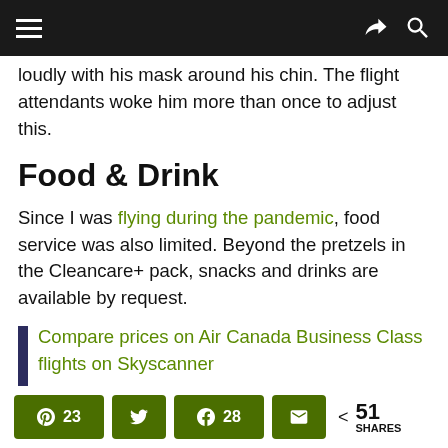loudly with his mask around his chin. The flight attendants woke him more than once to adjust this.
Food & Drink
Since I was flying during the pandemic, food service was also limited. Beyond the pretzels in the Cleancare+ pack, snacks and drinks are available by request.
Compare prices on Air Canada Business Class flights on Skyscanner